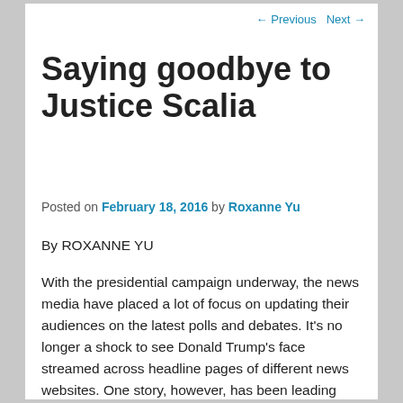← Previous   Next →
Saying goodbye to Justice Scalia
Posted on February 18, 2016 by Roxanne Yu
By ROXANNE YU
With the presidential campaign underway, the news media have placed a lot of focus on updating their audiences on the latest polls and debates. It's no longer a shock to see Donald Trump's face streamed across headline pages of different news websites. One story, however, has been leading topic for the past few days, catching the attention of the public and overshadowing news about the presidential candidates.